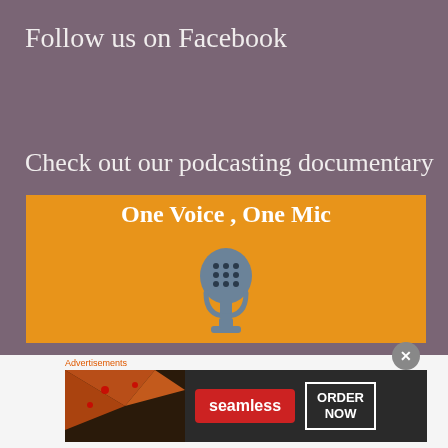Follow us on Facebook
Check out our podcasting documentary
[Figure (illustration): Orange banner with white bold text 'One Voice , One Mic' and a grey microphone icon below the text]
Advertisements
[Figure (screenshot): Seamless food ordering advertisement banner with pizza image on the left, Seamless logo in red, and 'ORDER NOW' button in white border on dark background]